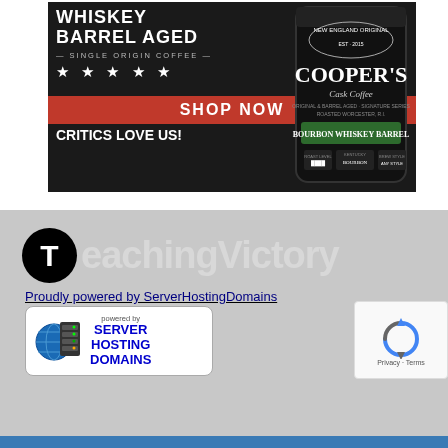[Figure (advertisement): Cooper's Cask Coffee advertisement showing a black coffee bag with 'Bourbon Whiskey Barrel' label, text 'Whiskey Barrel Aged - Single Origin Coffee -', five stars, 'SHOP NOW' button in red/orange, and 'CRITICS LOVE US!' text]
[Figure (logo): TeachingVictory logo with black circular T icon and large grey 'TeachingVictory' text]
Proudly powered by ServerHostingDomains
[Figure (logo): ServerHostingDomains badge with globe/server icon and text 'powered by SERVER HOSTING DOMAINS']
[Figure (other): Google reCAPTCHA badge with rotating arrows icon and 'Privacy - Terms' text]